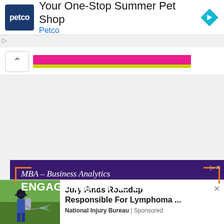[Figure (screenshot): Petco advertisement banner with Petco logo (dark blue square with 'petco' text), headline 'Your One-Stop Summer Pet Shop', subline 'Petco', and a blue diamond navigation icon on the right. Below is an up-chevron button and a progress bar with pink and yellow-green sections.]
[Figure (screenshot): MBA Business Analytics advertisement on purple background showing text 'MBA – Business Analytics' and 'ENGAGE WITH THE LATEST TECH' with orange bracket corners, a photo of three people in a business meeting with bar charts on screen behind them, and an orange 'APPLY NOW' bar at the bottom.]
[Figure (screenshot): Native advertisement at bottom showing a person spraying crops with a backpack sprayer. Headline: 'Jury Finds Roundup Responsible For Lymphoma ...' Source: 'National Injury Bureau | Sponsored'. Close X button in top right.]